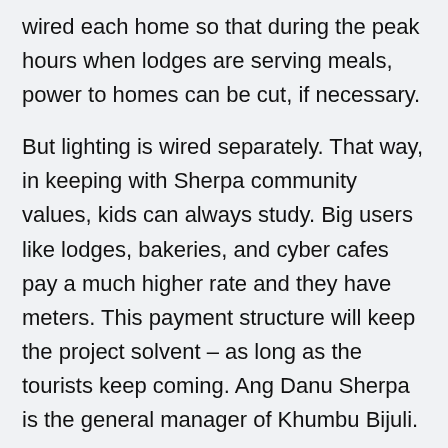wired each home so that during the peak hours when lodges are serving meals, power to homes can be cut, if necessary.
But lighting is wired separately. That way, in keeping with Sherpa community values, kids can always study. Big users like lodges, bakeries, and cyber cafes pay a much higher rate and they have meters. This payment structure will keep the project solvent – as long as the tourists keep coming. Ang Danu Sherpa is the general manager of Khumbu Bijuli.
A. D. SHERPA: So our biggest challenge is to sustain, to have enough money especially for repair and maintenance. If the tourism business stop here, then we have to really struggle to sustain the...